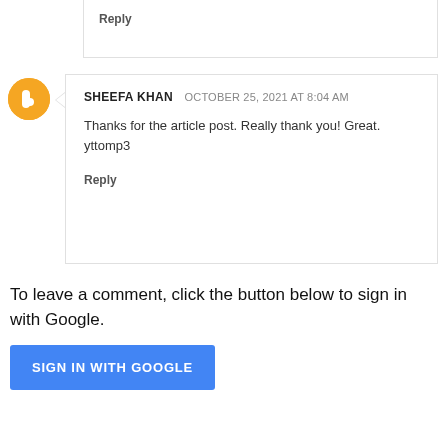Reply
SHEEFA KHAN  OCTOBER 25, 2021 AT 8:04 AM
Thanks for the article post. Really thank you! Great. yttomp3
Reply
To leave a comment, click the button below to sign in with Google.
SIGN IN WITH GOOGLE